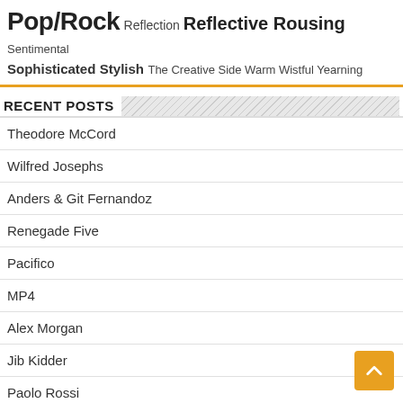Pop/Rock Reflection Reflective Rousing Sentimental Sophisticated Stylish The Creative Side Warm Wistful Yearning
RECENT POSTS
Theodore McCord
Wilfred Josephs
Anders & Git Fernandoz
Renegade Five
Pacifico
MP4
Alex Morgan
Jib Kidder
Paolo Rossi
Myron
Alejandro Fuentes